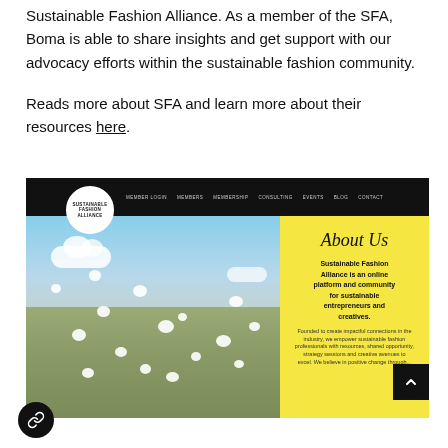Sustainable Fashion Alliance. As a member of the SFA, Boma is able to share insights and get support with our advocacy efforts within the sustainable fashion community.
Reads more about SFA and learn more about their resources here.
[Figure (screenshot): Screenshot of the Sustainable Fashion Alliance website showing navigation bar with logo and menu items (Member Login, Members, Membership, Consulting, Events, Blog, Contact), a split layout with a cotton field photo on the left and a yellow 'About Us' panel on the right describing SFA as an online platform and community for sustainable entrepreneurs and creatives.]